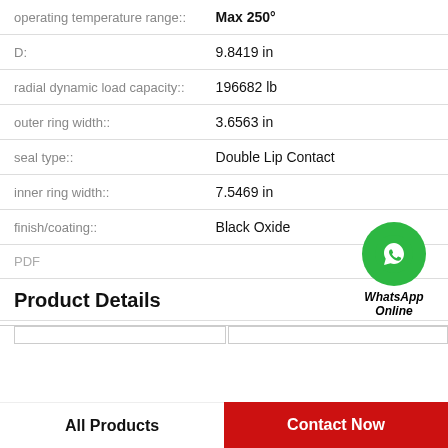| Property | Value |
| --- | --- |
| operating temperature range:: | Max 250° |
| D:: | 9.8419 in |
| radial dynamic load capacity:: | 196682 lb |
| outer ring width:: | 3.6563 in |
| seal type:: | Double Lip Contact |
| inner ring width:: | 7.5469 in |
| finish/coating:: | Black Oxide |
| PDF |  |
[Figure (logo): WhatsApp contact button with green phone icon and text 'WhatsApp Online']
Product Details
All Products
Contact Now